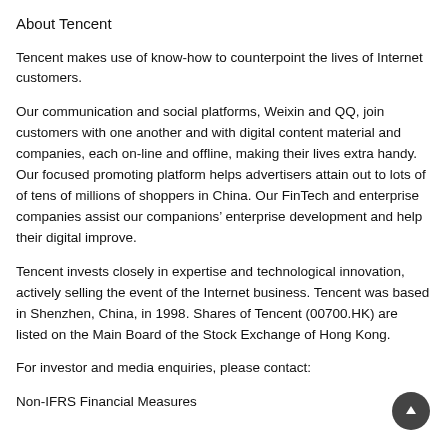About Tencent
Tencent makes use of know-how to counterpoint the lives of Internet customers.
Our communication and social platforms, Weixin and QQ, join customers with one another and with digital content material and companies, each on-line and offline, making their lives extra handy. Our focused promoting platform helps advertisers attain out to lots of of tens of millions of shoppers in China. Our FinTech and enterprise companies assist our companions’ enterprise development and help their digital improve.
Tencent invests closely in expertise and technological innovation, actively selling the event of the Internet business. Tencent was based in Shenzhen, China, in 1998. Shares of Tencent (00700.HK) are listed on the Main Board of the Stock Exchange of Hong Kong.
For investor and media enquiries, please contact:
Non-IFRS Financial Measures